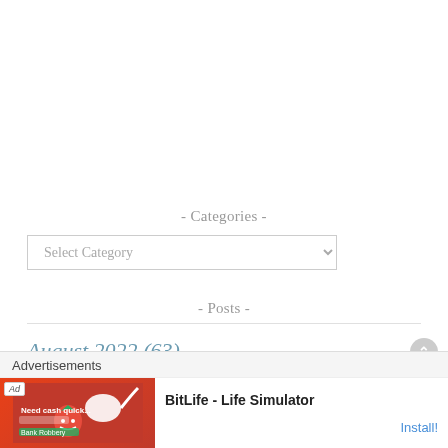- Categories -
Select Category
- Posts -
August 2022 (63)
Advertisements
[Figure (screenshot): BitLife - Life Simulator advertisement banner with red background, game logo, and Install button]